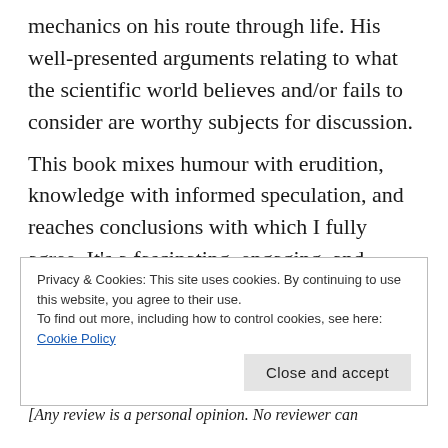mechanics on his route through life. His well-presented arguments relating to what the scientific world believes and/or fails to consider are worthy subjects for discussion.
This book mixes humour with erudition, knowledge with informed speculation, and reaches conclusions with which I fully agree. It’s a fascinating, engaging, and illuminating piece of work.
As an aside, the link to Sherlock Holmes given in the genre list up top is simply a reference to the author’s admiration of the sleuth and his creator.
Privacy & Cookies: This site uses cookies. By continuing to use this website, you agree to their use.
To find out more, including how to control cookies, see here: Cookie Policy
[Any review is a personal opinion. No reviewer can